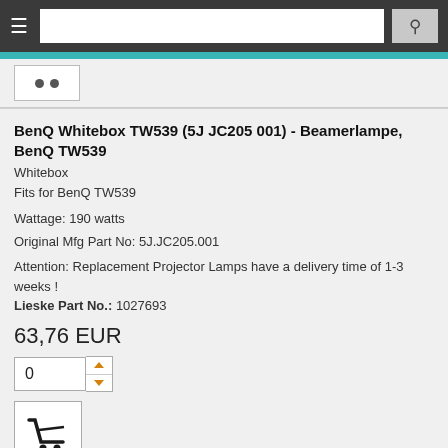[Figure (screenshot): Navigation bar with hamburger menu icon and search box with magnifying glass icon]
[Figure (screenshot): Thumbnail strip with two dark dots on white background]
BenQ Whitebox TW539 (5J JC205 001) - Beamerlampe, BenQ TW539
Whitebox
Fits for BenQ TW539
Wattage: 190 watts
Original Mfg Part No: 5J.JC205.001
Attention: Replacement Projector Lamps have a delivery time of 1-3 weeks !
Lieske Part No.: 1027693
63,76 EUR
[Figure (screenshot): Quantity input field showing 0 with up/down arrows]
[Figure (screenshot): Shopping cart button icon]
BenQ Projector Lamp Module TW539 (5J JC205 001) - Beamerlampe, BenQ TW539
Projector Lamp Module
Fits for BenQ TW539
Original Mfg Part No: 5J.JC205.001